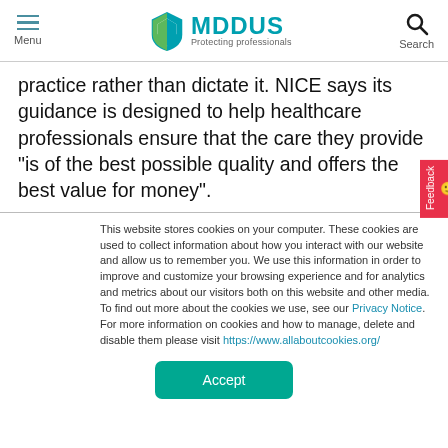Menu | MDDUS Protecting professionals | Search
practice rather than dictate it. NICE says its guidance is designed to help healthcare professionals ensure that the care they provide "is of the best possible quality and offers the best value for money".
This website stores cookies on your computer. These cookies are used to collect information about how you interact with our website and allow us to remember you. We use this information in order to improve and customize your browsing experience and for analytics and metrics about our visitors both on this website and other media. To find out more about the cookies we use, see our Privacy Notice. For more information on cookies and how to manage, delete and disable them please visit https://www.allaboutcookies.org/